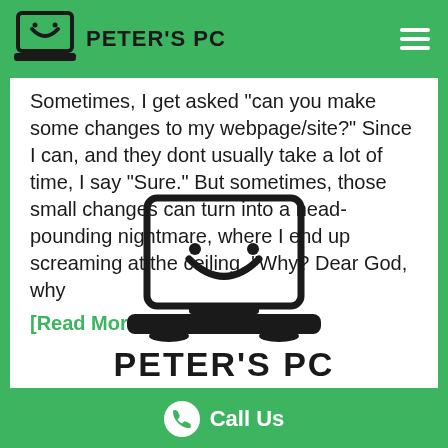PETER'S PC
Sometimes, I get asked "can you make some changes to my webpage/site?" Since I can, and they dont usually take a lot of time, I say "Sure." But sometimes, those small changes can turn into a head-pounding nightmare, where I end up screaming at the ceiling, "Why? Dear God, why [Read More]
[Figure (logo): Peter's PC logo: laptop with smiley face screen, bold brand name underneath]
Call Us